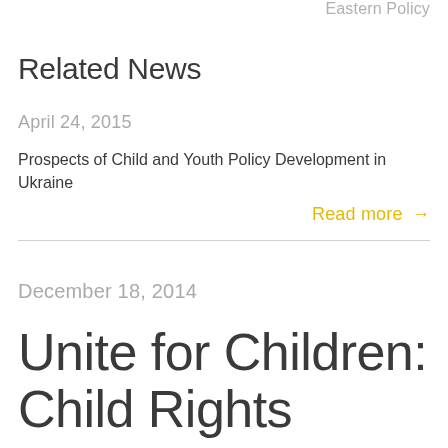Eastern Policy
Related News
April 24, 2015
Prospects of Child and Youth Policy Development in Ukraine
Read more →
December 18, 2014
Unite for Children: Child Rights